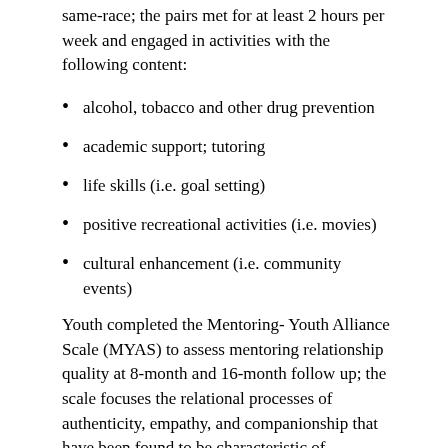same-race; the pairs met for at least 2 hours per week and engaged in activities with the following content:
alcohol, tobacco and other drug prevention
academic support; tutoring
life skills (i.e. goal setting)
positive recreational activities (i.e. movies)
cultural enhancement (i.e. community events)
Youth completed the Mentoring- Youth Alliance Scale (MYAS) to assess mentoring relationship quality at 8-month and 16-month follow up; the scale focuses the relational processes of authenticity, empathy, and companionship that have been found to be characteristic of successful mentoring relationships (Spencer, 2006).  They also completed measures on their perception of their own